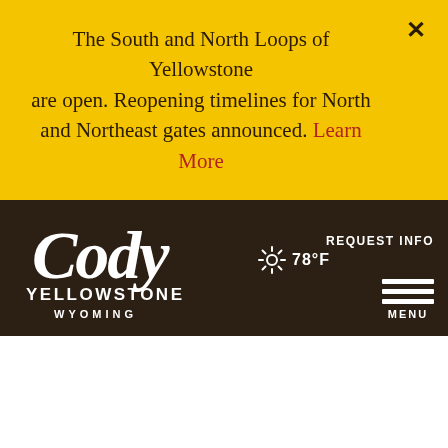The South and North Loops of Yellowstone are open. Reopening timelines for North and Northeast gates announced. Learn More
[Figure (logo): Cody Yellowstone Wyoming logo in white on dark brown background, with cursive 'Cody' text and block 'YELLOWSTONE WYOMING' text]
78°F
REQUEST INFO
MENU